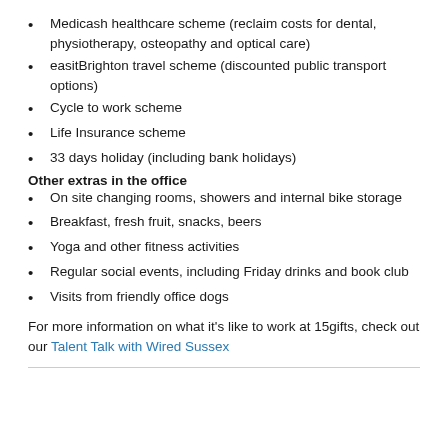Medicash healthcare scheme (reclaim costs for dental, physiotherapy, osteopathy and optical care)
easitBrighton travel scheme (discounted public transport options)
Cycle to work scheme
Life Insurance scheme
33 days holiday (including bank holidays)
Other extras in the office
On site changing rooms, showers and internal bike storage
Breakfast, fresh fruit, snacks, beers
Yoga and other fitness activities
Regular social events, including Friday drinks and book club
Visits from friendly office dogs
For more information on what it's like to work at 15gifts, check out our Talent Talk with Wired Sussex